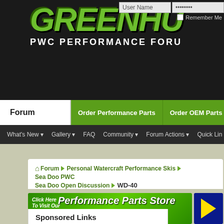[Figure (screenshot): Greenhulk.net PWC Performance Forum website header with green logo text and navigation]
GREENHULK.NET — PWC PERFORMANCE FORUM
User Name | Password | Remember Me
Forum | Order Performance Parts | Order OEM Parts
What's New ▾ Gallery ▾ FAQ Community ▾ Forum Actions ▾ Quick Links
Forum › Personal Watercraft Performance Skis › Sea Doo PWC › Sea Doo Open Discussion › WD-40
[Figure (screenshot): Performance Parts Store banner ad - pwcperformance.com]
Sponsored Links